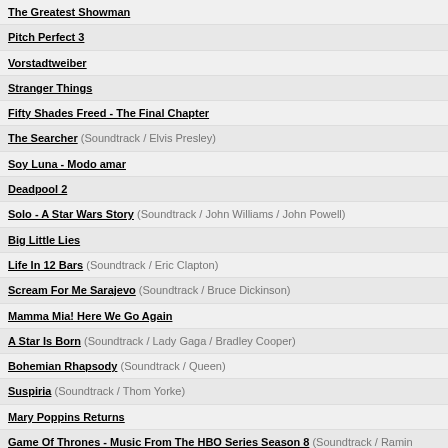The Greatest Showman
Pitch Perfect 3
Vorstadtweiber
Stranger Things
Fifty Shades Freed - The Final Chapter
The Searcher (Soundtrack / Elvis Presley)
Soy Luna - Modo amar
Deadpool 2
Solo - A Star Wars Story (Soundtrack / John Williams / John Powell)
Big Little Lies
Life In 12 Bars (Soundtrack / Eric Clapton)
Scream For Me Sarajevo (Soundtrack / Bruce Dickinson)
Mamma Mia! Here We Go Again
A Star Is Born (Soundtrack / Lady Gaga / Bradley Cooper)
Bohemian Rhapsody (Soundtrack / Queen)
Suspiria (Soundtrack / Thom Yorke)
Mary Poppins Returns
Game Of Thrones - Music From The HBO Series Season 8 (Soundtrack / Ramin Djawadi)
Rocketman
Aladdin [2019] (Soundtrack / Alan Menken)
The Lion King [2019]
BTS World (Soundtrack / BTS)
Quentin Tarantino's Once Upon A Time In Hollywood
Ich war noch niemals in New York (Soundtrack / Udo Jürgens)
Frozen II
Last Christmas (Soundtrack / George Michael & Wham!)
Birds Of Prey